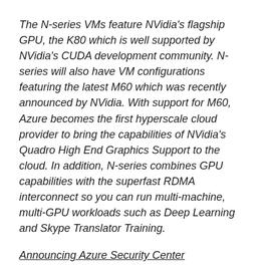The N-series VMs feature NVidia's flagship GPU, the K80 which is well supported by NVidia's CUDA development community. N-series will also have VM configurations featuring the latest M60 which was recently announced by NVidia. With support for M60, Azure becomes the first hyperscale cloud provider to bring the capabilities of NVidia's Quadro High End Graphics Support to the cloud. In addition, N-series combines GPU capabilities with the superfast RDMA interconnect so you can run multi-machine, multi-GPU workloads such as Deep Learning and Skype Translator Training.
Announcing Azure Security Center
This week we announced the new Azure Security Center —a new Azure service that gives you visibility and control of the security of your Azure resources and helps you...